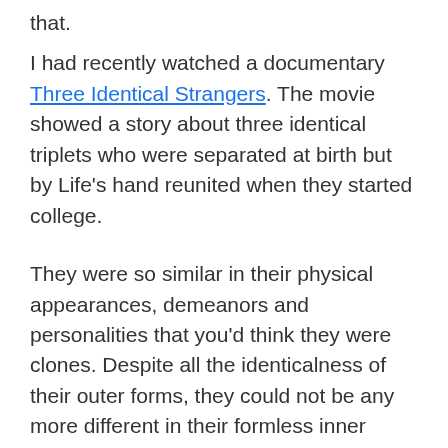that.
I had recently watched a documentary Three Identical Strangers. The movie showed a story about three identical triplets who were separated at birth but by Life's hand reunited when they started college.
They were so similar in their physical appearances, demeanors and personalities that you'd think they were clones. Despite all the identicalness of their outer forms, they could not be any more different in their formless inner worlds. The initial high slowly faded away as they discovered just how little they knew about each other as if they were just strangers living together who looked the same.